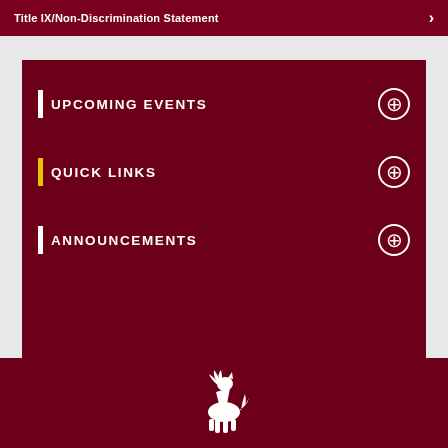Title IX/Non-Discrimination Statement
UPCOMING EVENTS
QUICK LINKS
ANNOUNCEMENTS
[Figure (logo): White horse/mustang mascot logo on dark red background]